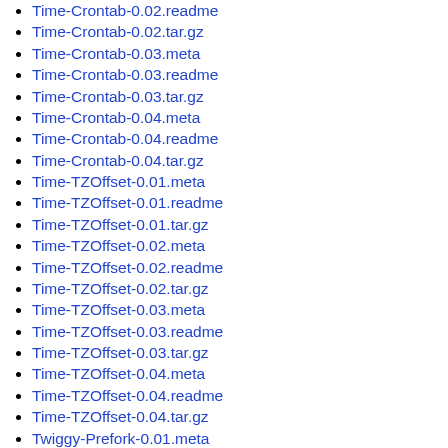Time-Crontab-0.02.readme
Time-Crontab-0.02.tar.gz
Time-Crontab-0.03.meta
Time-Crontab-0.03.readme
Time-Crontab-0.03.tar.gz
Time-Crontab-0.04.meta
Time-Crontab-0.04.readme
Time-Crontab-0.04.tar.gz
Time-TZOffset-0.01.meta
Time-TZOffset-0.01.readme
Time-TZOffset-0.01.tar.gz
Time-TZOffset-0.02.meta
Time-TZOffset-0.02.readme
Time-TZOffset-0.02.tar.gz
Time-TZOffset-0.03.meta
Time-TZOffset-0.03.readme
Time-TZOffset-0.03.tar.gz
Time-TZOffset-0.04.meta
Time-TZOffset-0.04.readme
Time-TZOffset-0.04.tar.gz
Twiggy-Prefork-0.01.meta
Twiggy-Prefork-0.01.readme
Twiggy-Prefork-0.01.tar.gz
Twiggy-Prefork-0.02.meta
Twiggy-Prefork-0.02.readme